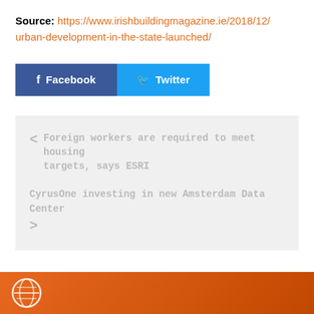Source: https://www.irishbuildingmagazine.ie/2018/12/urban-development-in-the-state-launched/
[Figure (other): Facebook and Twitter share buttons]
< Foreign workers are required to meet housing targets, says ESRI
CyrusOne investing in new Amsterdam Data Center >
[Figure (other): Orange footer bar with white globe/network logo]